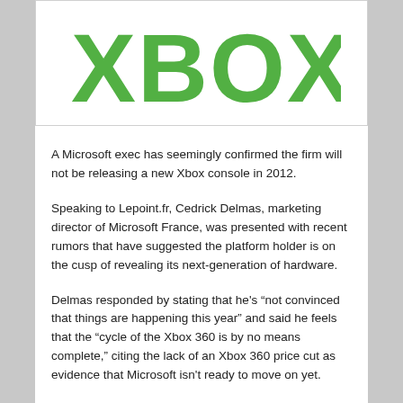[Figure (logo): Xbox logo in green on white background]
A Microsoft exec has seemingly confirmed the firm will not be releasing a new Xbox console in 2012.
Speaking to Lepoint.fr, Cedrick Delmas, marketing director of Microsoft France, was presented with recent rumors that have suggested the platform holder is on the cusp of revealing its next-generation of hardware.
Delmas responded by stating that he’s “not convinced that things are happening this year” and said he feels that the “cycle of the Xbox 360 is by no means complete,” citing the lack of an Xbox 360 price cut as evidence that Microsoft isn’t ready to move on yet.
“After that, it will happen at E3, it is still premature. What